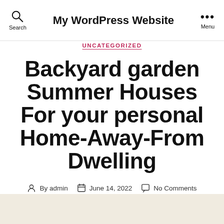My WordPress Website
UNCATEGORIZED
Backyard garden Summer Houses For your personal Home-Away-From Dwelling
By admin  June 14, 2022  No Comments